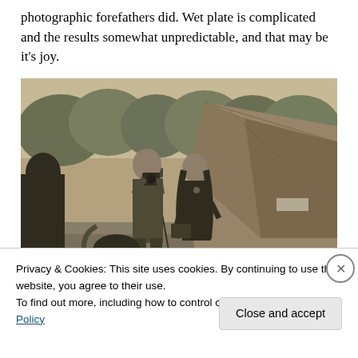photographic forefathers did. Wet plate is complicated and the results somewhat unpredictable, and that may be it's joy.
[Figure (photo): Black and white sepia-toned outdoor photograph showing people near a large tent or marquee structure. A bald man holds a camera, a woman with long hair stands beside him, and another person is partially visible in the foreground. Trees are visible in the background.]
Privacy & Cookies: This site uses cookies. By continuing to use this website, you agree to their use.
To find out more, including how to control cookies, see here: Cookie Policy